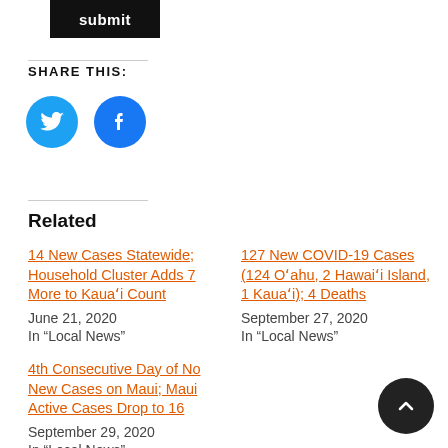[Figure (other): Submit button, black background with white text]
Share this:
[Figure (other): Twitter and Facebook social share icon circles]
Related
14 New Cases Statewide; Household Cluster Adds 7 More to Kauaʼi Count
June 21, 2020
In “Local News”
127 New COVID-19 Cases (124 Oʻahu, 2 Hawaiʻi Island, 1 Kauaʻi); 4 Deaths
September 27, 2020
In “Local News”
4th Consecutive Day of No New Cases on Maui; Maui Active Cases Drop to 16
September 29, 2020
In “Local News”